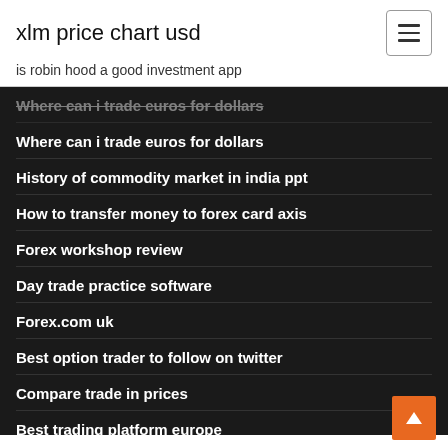xlm price chart usd
is robin hood a good investment app
Where can i trade euros for dollars
Where can i trade euros for dollars
History of commodity market in india ppt
How to transfer money to forex card axis
Forex workshop review
Day trade practice software
Forex.com uk
Best option trader to follow on twitter
Compare trade in prices
Best trading platform europe